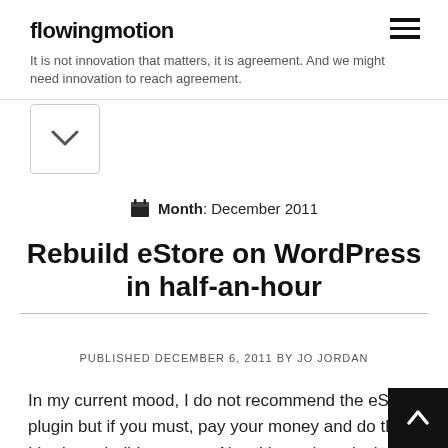flowingmotion — It is not innovation that matters, it is agreement. And we might need innovation to reach agreement.
Month: December 2011
Rebuild eStore on WordPress in half-an-hour
PUBLISHED DECEMBER 6, 2011 BY JO JORDAN
In my current mood, I do not recommend the eStore plugin but if you must, pay your money and do this. I had to rebuild my store. Now I know how, it should take half-an-hour. It took my ove hours with back and forth to the vendors. Here